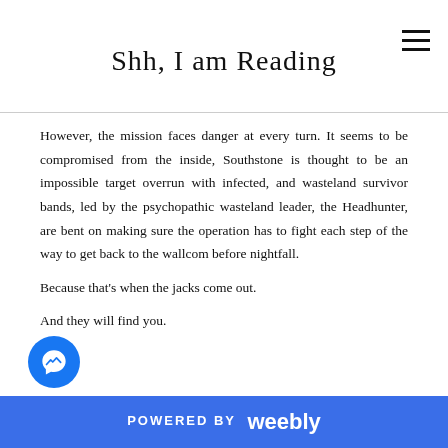Shh, I am Reading
However, the mission faces danger at every turn. It seems to be compromised from the inside, Southstone is thought to be an impossible target overrun with infected, and wasteland survivor bands, led by the psychopathic wasteland leader, the Headhunter, are bent on making sure the operation has to fight each step of the way to get back to the wallcom before nightfall.
Because that's when the jacks come out.
And they will find you.
Welcome to the world of The Fall.
My Rating
POWERED BY weebly